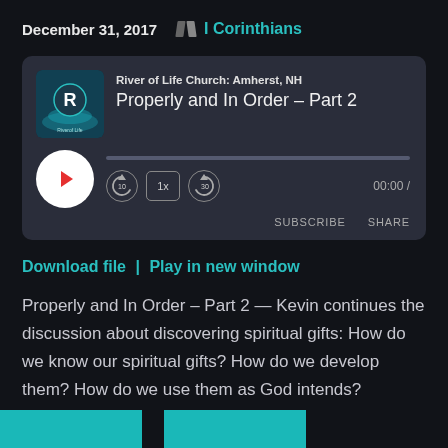December 31, 2017   I Corinthians
[Figure (screenshot): Podcast player card for 'River of Life Church: Amherst, NH' — episode 'Properly and In Order - Part 2'. Shows album art, play button, progress bar, speed controls (10-back, 1x, 30-forward), time 00:00, SUBSCRIBE and SHARE buttons.]
Download file | Play in new window
Properly and In Order – Part 2 — Kevin continues the discussion about discovering spiritual gifts: How do we know our spiritual gifts? How do we develop them? How do we use them as God intends?